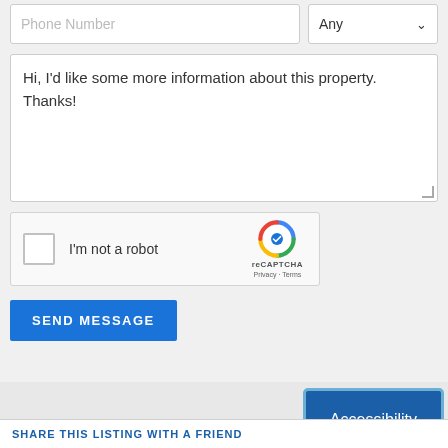[Figure (screenshot): Web form with phone number input field and 'Any' dropdown selector at top]
Hi, I'd like some more information about this property. Thanks!
[Figure (other): reCAPTCHA widget with checkbox 'I'm not a robot' and reCAPTCHA logo with Privacy and Terms links]
SEND MESSAGE
Accessibility
SHARE THIS LISTING WITH A FRIEND